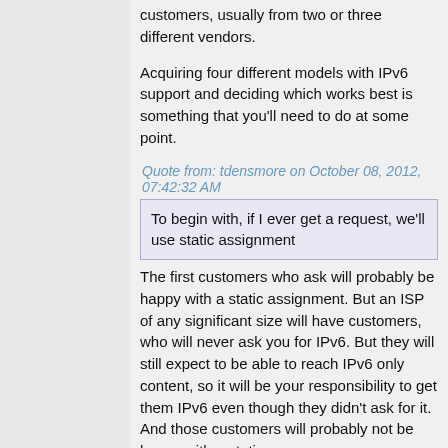customers, usually from two or three different vendors.
Acquiring four different models with IPv6 support and deciding which works best is something that you'll need to do at some point.
Quote from: tdensmore on October 08, 2012, 07:42:32 AM
To begin with, if I ever get a request, we'll use static assignment
The first customers who ask will probably be happy with a static assignment. But an ISP of any significant size will have customers, who will never ask you for IPv6. But they will still expect to be able to reach IPv6 only content, so it will be your responsibility to get them IPv6 even though they didn't ask for it. And those customers will probably not be happy with a static